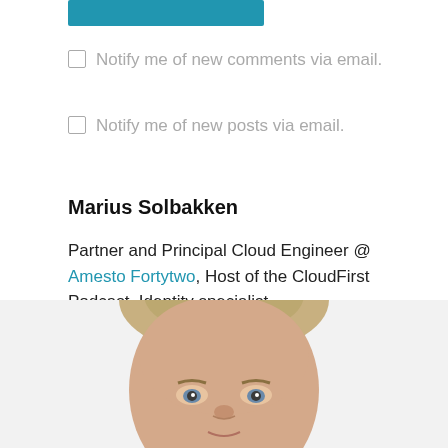[Figure (other): Blue button/rectangle at top of page]
Notify me of new comments via email.
Notify me of new posts via email.
Marius Solbakken
Partner and Principal Cloud Engineer @ Amesto Fortytwo, Host of the CloudFirst Podcast, Identity specialist
[Figure (photo): Headshot photo of Marius Solbakken, a man with short blonde hair, looking at the camera]